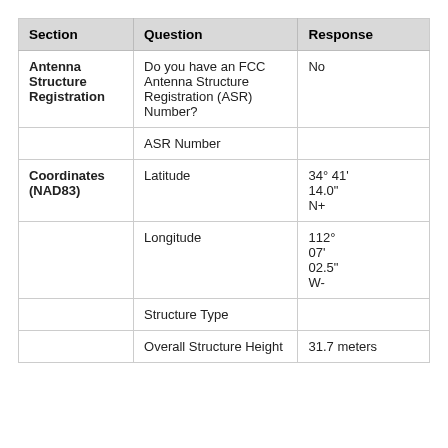| Section | Question | Response |
| --- | --- | --- |
| Antenna Structure Registration | Do you have an FCC Antenna Structure Registration (ASR) Number? | No |
|  | ASR Number |  |
| Coordinates (NAD83) | Latitude | 34° 41' 14.0" N+ |
|  | Longitude | 112° 07' 02.5" W- |
|  | Structure Type |  |
|  | Overall Structure Height | 31.7 meters |